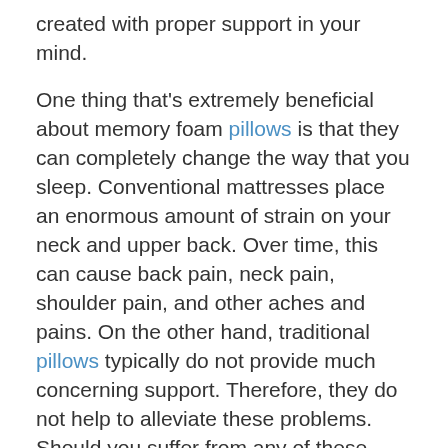created with proper support in your mind.
One thing that's extremely beneficial about memory foam pillows is that they can completely change the way that you sleep. Conventional mattresses place an enormous amount of strain on your neck and upper back. Over time, this can cause back pain, neck pain, shoulder pain, and other aches and pains. On the other hand, traditional pillows typically do not provide much concerning support. Therefore, they do not help to alleviate these problems. Should you suffer from any of these conditions, the very best memory foam pillow which you can buy is one that is going to supply you with the support that you need.